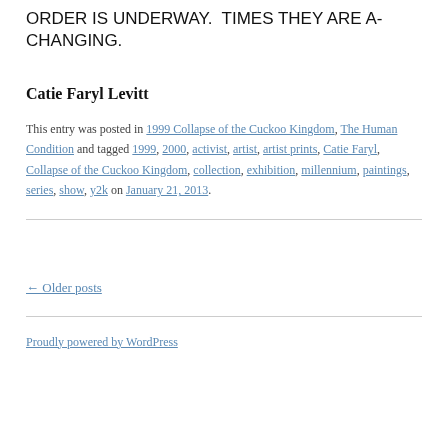ORDER IS UNDERWAY.  TIMES THEY ARE A-CHANGING.
Catie Faryl Levitt
This entry was posted in 1999 Collapse of the Cuckoo Kingdom, The Human Condition and tagged 1999, 2000, activist, artist, artist prints, Catie Faryl, Collapse of the Cuckoo Kingdom, collection, exhibition, millennium, paintings, series, show, y2k on January 21, 2013.
← Older posts
Proudly powered by WordPress